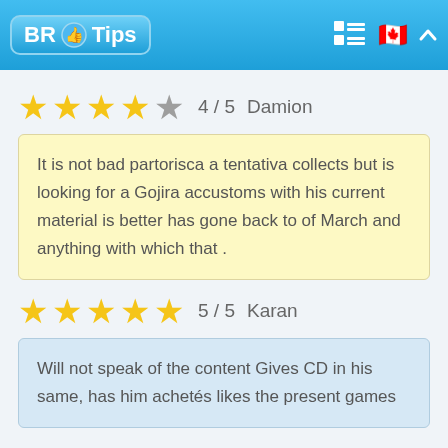BR Tips
4 / 5  Damion
It is not bad partorisca a tentativa collects but is looking for a Gojira accustoms with his current material is better has gone back to of March and anything with which that .
5 / 5  Karan
Will not speak of the content Gives CD in his same, has him achetés likes the present games